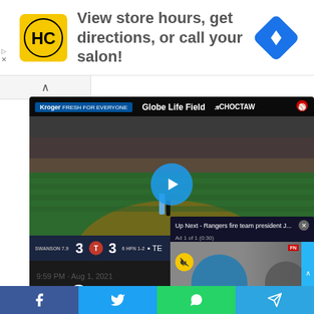[Figure (screenshot): Advertisement banner with HC logo (yellow background, black HC letters), text 'View store hours, get directions, or call your salon!', and a blue navigation diamond icon on the right. Small triangle and X icons on the left edge.]
[Figure (screenshot): Baseball game video player showing a game at Globe Life Field with Kroger, Globe Life Field, and Choctaw sponsor banners. Score shows 3-3 between two teams. A blue play button circle is centered. An 'Up Next - Rangers fire team president J...' overlay panel appears in the bottom right with 'Ad 1 of 1 (0:30)' label, a muted speaker icon, and two people being interviewed (Mike Fisher and Bri Amaranthus). Tweet time shows 9:59 PM · Aug 1, 2021 with 122 likes and a Reply button.]
[Figure (screenshot): Bottom social sharing bar with Facebook (blue), Twitter (light blue), WhatsApp (green), and Telegram (blue) icons.]